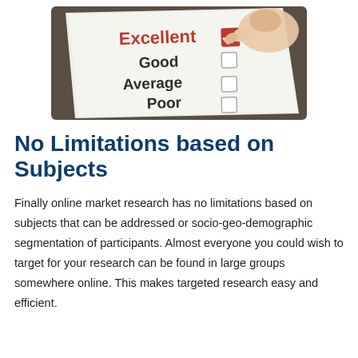[Figure (photo): Photo of a tablet showing a survey form with options: Excellent (checked with red checkmark), Good, Average, Poor — a hand is pointing at the Excellent checkbox.]
No Limitations based on Subjects
Finally online market research has no limitations based on subjects that can be addressed or socio-geo-demographic segmentation of participants. Almost everyone you could wish to target for your research can be found in large groups somewhere online. This makes targeted research easy and efficient.